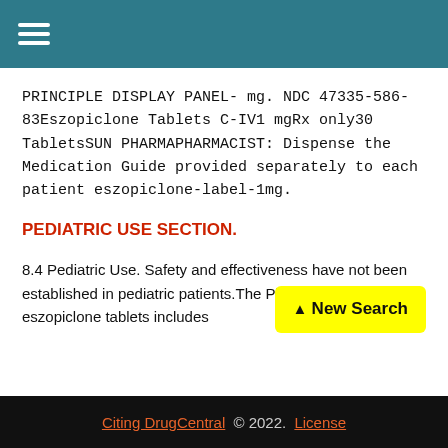Navigation menu
PRINCIPLE DISPLAY PANEL- mg. NDC 47335-586-83Eszopiclone Tablets C-IV1 mgRx only30 TabletsSUN PHARMAPHARMACIST: Dispense the Medication Guide provided separately to each patient eszopiclone-label-1mg.
PEDIATRIC USE SECTION.
8.4 Pediatric Use. Safety and effectiveness have not been established in pediatric patients.The Pharmaceutical Inc.s eszopiclone tablets includes
Citing DrugCentral © 2022. License